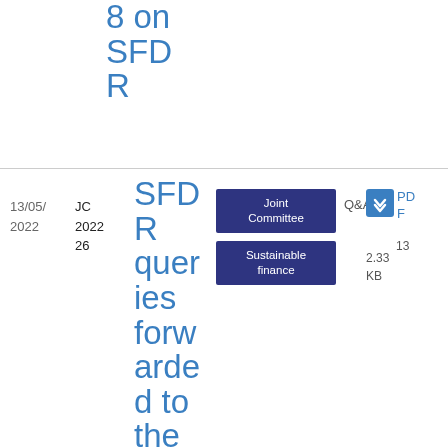8 on SFDR
| Date | Reference | Title | Tags | Type | Download |
| --- | --- | --- | --- | --- | --- |
| 13/05/2022 | JC 2022 26 | SFDR queries forwarded to the Commission | Joint Committee, Sustainable finance | Q&A | PDF 132.33 KB |
| 01/04/2022 | ESMA 32-51-370 | Q&A on ESMA Guid | Corporate Disclosure, Corporate Information | Q&A | PDF 987.02 KB |